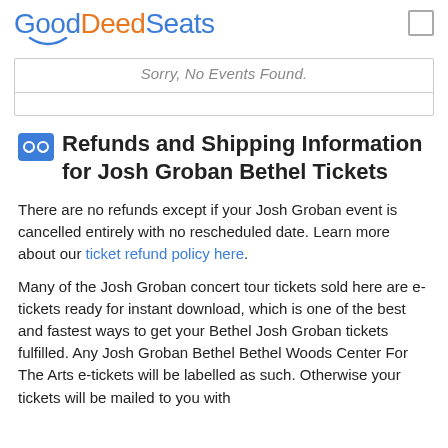GoodDeedSeats
[Figure (screenshot): Search box area showing 'Sorry, No Events Found.' text with bordered box UI element]
Refunds and Shipping Information for Josh Groban Bethel Tickets
There are no refunds except if your Josh Groban event is cancelled entirely with no rescheduled date. Learn more about our ticket refund policy here.
Many of the Josh Groban concert tour tickets sold here are e-tickets ready for instant download, which is one of the best and fastest ways to get your Bethel Josh Groban tickets fulfilled. Any Josh Groban Bethel Bethel Woods Center For The Arts e-tickets will be labelled as such. Otherwise your tickets will be mailed to you with